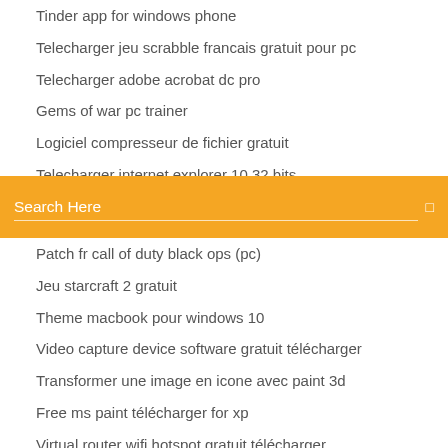Tinder app for windows phone
Telecharger jeu scrabble francais gratuit pour pc
Telecharger adobe acrobat dc pro
Gems of war pc trainer
Logiciel compresseur de fichier gratuit
Telecharger internet explorer 10 32 bits
Mise a jours pilote gratuit
Search Here
Patch fr call of duty black ops (pc)
Jeu starcraft 2 gratuit
Theme macbook pour windows 10
Video capture device software gratuit télécharger
Transformer une image en icone avec paint 3d
Free ms paint télécharger for xp
Virtual router wifi hotspot gratuit télécharger
Utiliser icloud drive sur pc
Avast antivirus gratis 2020 windows 7
Convertir mov en avi mac